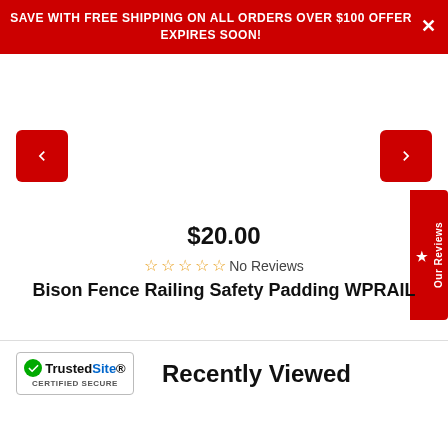SAVE WITH FREE SHIPPING ON ALL ORDERS OVER $100 OFFER EXPIRES SOON!
[Figure (screenshot): Product image carousel area with left and right red arrow navigation buttons and a side reviews tab]
$20.00
☆☆☆☆☆ No Reviews
Bison Fence Railing Safety Padding WPRAIL
[Figure (logo): TrustedSite CERTIFIED SECURE badge with green checkmark]
Recently Viewed